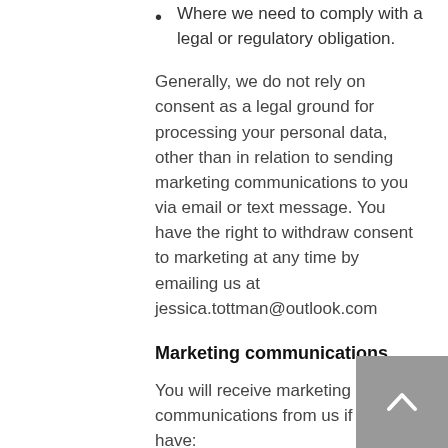Where we need to comply with a legal or regulatory obligation.
Generally, we do not rely on consent as a legal ground for processing your personal data, other than in relation to sending marketing communications to you via email or text message. You have the right to withdraw consent to marketing at any time by emailing us at jessica.tottman@outlook.com
Marketing communications
You will receive marketing communications from us if you have:
requested information from us or purchased goods or services from us; or
if you provided us with your details and ticked the box at the point of entry of your details for us to send you